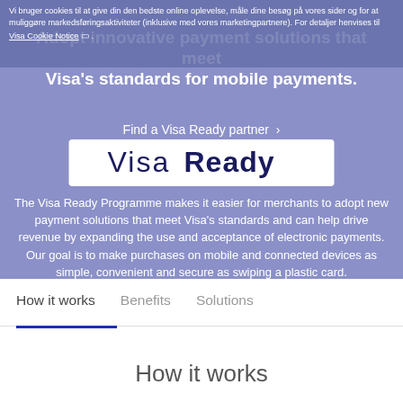Vi bruger cookies til at give din den bedste online oplevelse, måle dine besøg på vores sider og for at muliggøre markedsføringsaktiviteter (inklusive med vores marketingpartnere). For detaljer henvises til Visa Cookie Notice .
Adopt innovative payment solutions that meet Visa's standards for mobile payments.
[Figure (logo): Visa Ready logo in white rectangle]
Find a Visa Ready partner ›
The Visa Ready Programme makes it easier for merchants to adopt new payment solutions that meet Visa's standards and can help drive revenue by expanding the use and acceptance of electronic payments. Our goal is to make purchases on mobile and connected devices as simple, convenient and secure as swiping a plastic card.
How it works
Benefits
Solutions
How it works